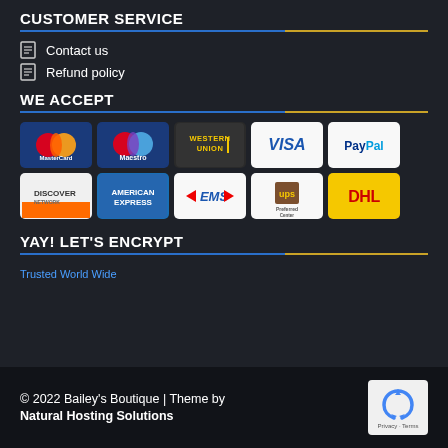CUSTOMER SERVICE
Contact us
Refund policy
WE ACCEPT
[Figure (infographic): Payment method logos: MasterCard, Maestro, Western Union, VISA, PayPal, Discover, American Express, EMS, UPS, DHL]
YAY! LET'S ENCRYPT
Trusted World Wide
© 2022 Bailey's Boutique | Theme by Natural Hosting Solutions